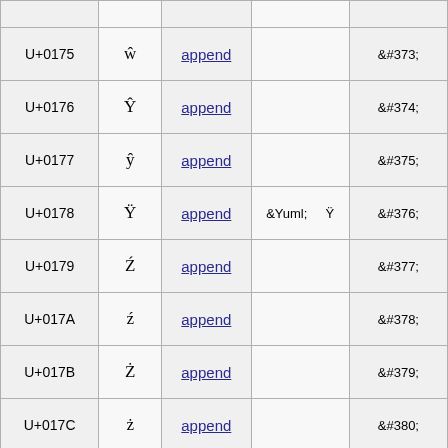| Code | Char | Link | Named Entity | Numeric Entity |
| --- | --- | --- | --- | --- |
| U+0175 | ŵ | append |  | &#373; |
| U+0176 | Ŷ | append |  | &#374; |
| U+0177 | ŷ | append |  | &#375; |
| U+0178 | Ÿ | append | &Yuml;   Ÿ | &#376; |
| U+0179 | Ź | append |  | &#377; |
| U+017A | ź | append |  | &#378; |
| U+017B | Ż | append |  | &#379; |
| U+017C | ż | append |  | &#380; |